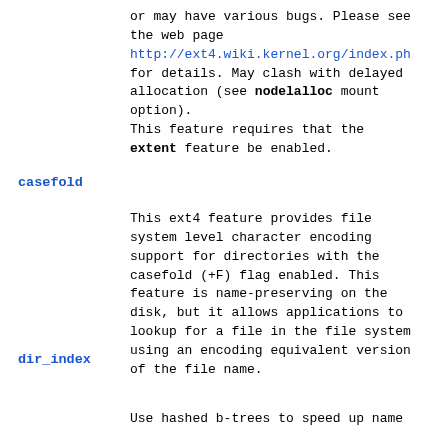or may have various bugs. Please see the web page http://ext4.wiki.kernel.org/index.ph for details. May clash with delayed allocation (see nodelalloc mount option).
This feature requires that the extent feature be enabled.
casefold
This ext4 feature provides file system level character encoding support for directories with the casefold (+F) flag enabled. This feature is name-preserving on the disk, but it allows applications to lookup for a file in the file system using an encoding equivalent version of the file name.
dir_index
Use hashed b-trees to speed up name